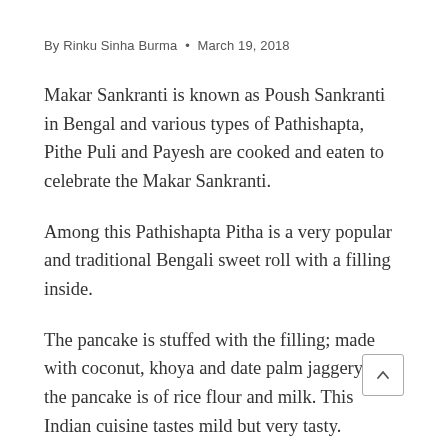By Rinku Sinha Burma • March 19, 2018
Makar Sankranti is known as Poush Sankranti in Bengal and various types of Pathishapta, Pithe Puli and Payesh are cooked and eaten to celebrate the Makar Sankranti.
Among this Pathishapta Pitha is a very popular and traditional Bengali sweet roll with a filling inside.
The pancake is stuffed with the filling; made with coconut, khoya and date palm jaggery and the pancake is of rice flour and milk. This Indian cuisine tastes mild but very tasty.